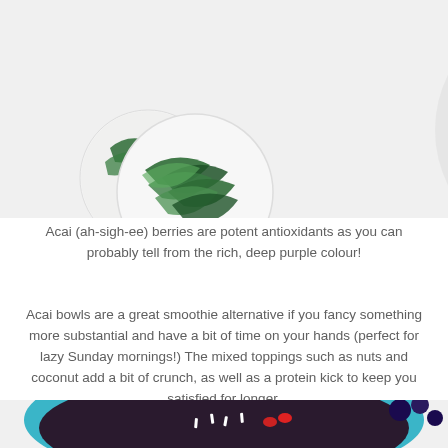[Figure (photo): Overhead shot of a teal bowl filled with acai smoothie topped with banana slices, almonds, goji berries, pistachios, and shredded coconut. Two decorative coasters with tropical leaf prints are placed beside the bowl on a white surface. Scattered goji berries are visible in the upper right corner.]
Acai (ah-sigh-ee) berries are potent antioxidants as you can probably tell from the rich, deep purple colour!
Acai bowls are a great smoothie alternative if you fancy something more substantial and have a bit of time on your hands (perfect for lazy Sunday mornings!) The mixed toppings such as nuts and coconut add a bit of crunch, as well as a protein kick to keep you satisfied for longer.
[Figure (photo): Partial view of teal acai bowl with toppings including shredded coconut and goji berries, with blueberries visible in the upper right corner, white background.]